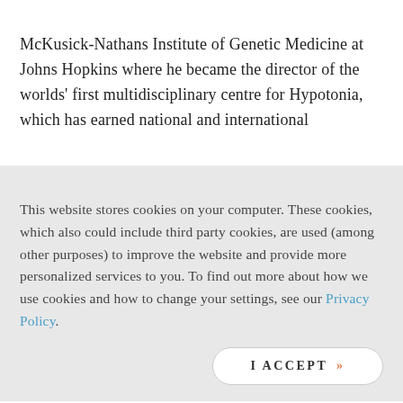McKusick-Nathans Institute of Genetic Medicine at Johns Hopkins where he became the director of the worlds' first multidisciplinary centre for Hypotonia, which has earned national and international
This website stores cookies on your computer. These cookies, which also could include third party cookies, are used (among other purposes) to improve the website and provide more personalized services to you. To find out more about how we use cookies and how to change your settings, see our Privacy Policy.